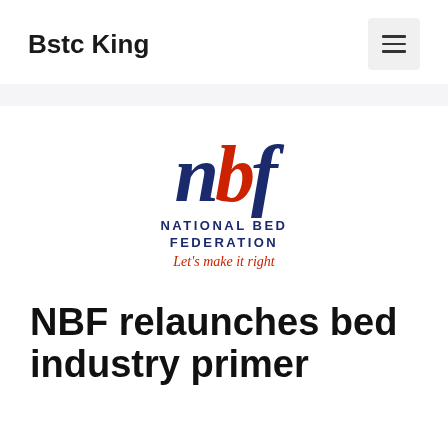Bstc King
[Figure (logo): NBF - National Bed Federation logo. Letters 'nbf' in large italic serif font (n and f in navy blue, b in red), with 'NATIONAL BED FEDERATION' in small caps navy blue text below, and 'Let's make it right' in red italic text as tagline.]
NBF relaunches bed industry primer